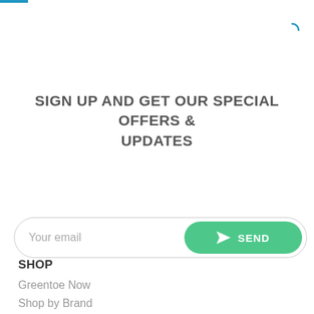SIGN UP AND GET OUR SPECIAL OFFERS & UPDATES
[Figure (other): Email subscription form with 'Your email' placeholder input and a green rounded SEND button with paper airplane icon]
SHOP
Greentoe Now
Shop by Brand